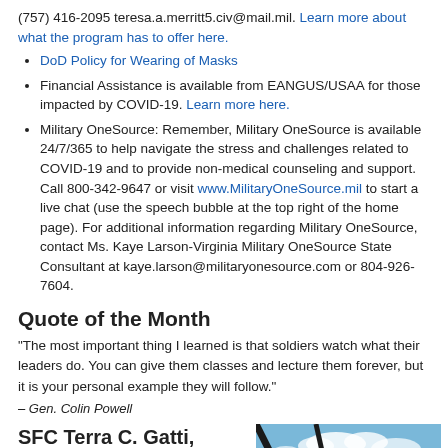(757) 416-2095 teresa.a.merritt5.civ@mail.mil. Learn more about what the program has to offer here.
DoD Policy for Wearing of Masks
Financial Assistance is available from EANGUS/USAA for those impacted by COVID-19. Learn more here.
Military OneSource: Remember, Military OneSource is available 24/7/365 to help navigate the stress and challenges related to COVID-19 and to provide non-medical counseling and support. Call 800-342-9647 or visit www.MilitaryOneSource.mil to start a live chat (use the speech bubble at the top right of the home page). For additional information regarding Military OneSource, contact Ms. Kaye Larson-Virginia Military OneSource State Consultant at kaye.larson@militaryonesource.com or 804-926-7604.
Quote of the Month
“The most important thing I learned is that soldiers watch what their leaders do. You can give them classes and lecture them forever, but it is your personal example they will follow.”
– Gen. Colin Powell
SFC Terra C. Gatti, Social Media NCO,
[Figure (photo): Outdoor photo showing trees and sky, taken from inside a vehicle]